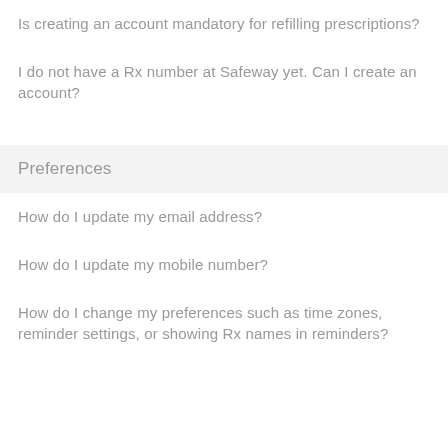Is creating an account mandatory for refilling prescriptions?
I do not have a Rx number at Safeway yet. Can I create an account?
Preferences
How do I update my email address?
How do I update my mobile number?
How do I change my preferences such as time zones, reminder settings, or showing Rx names in reminders?